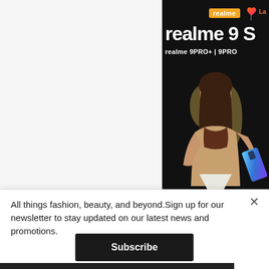[Figure (illustration): Realme advertisement showing a woman in a tan blazer and brown crop top holding a Realme smartphone. The ad features the Realme logo in an orange badge, a heart icon, 'La' text (Lazada), large white text reading 'realme 9 S', and subtitle text 'realme 9PRO+ | 9PRO' on a black background. A large stylized '9' numeral appears in gold behind the woman.]
All things fashion, beauty, and beyond.Sign up for our newsletter to stay updated on our latest news and promotions.